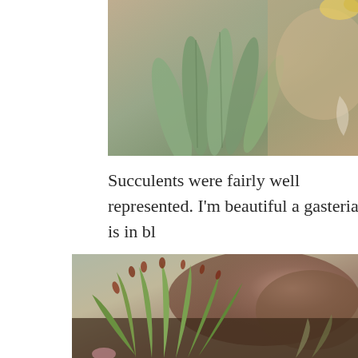[Figure (photo): Close-up photo of a succulent plant with thick gray-green leaves, partially cropped, with blurred brown background]
Succulents were fairly well represented. I'm beautiful a gasteria is in bl
[Figure (photo): Close-up photo of a succulent plant with pointed green leaves tipped with reddish-brown, with a blurred brown rocky or wooden background]